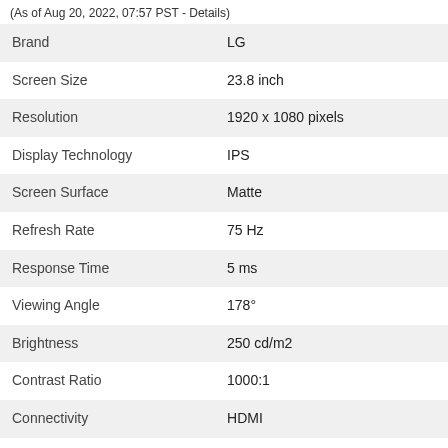(As of Aug 20, 2022, 07:57 PST - Details)
| Attribute | Value |
| --- | --- |
| Brand | LG |
| Screen Size | 23.8 inch |
| Resolution | 1920 x 1080 pixels |
| Display Technology | IPS |
| Screen Surface | Matte |
| Refresh Rate | 75 Hz |
| Response Time | 5 ms |
| Viewing Angle | 178° |
| Brightness | 250 cd/m2 |
| Contrast Ratio | 1000:1 |
| Connectivity | HDMI |
| Device Dimensions (WxHxD) | 53.91 x 41.4 x 21.49 cm |
| Features | Freesync
Headphone Out
Vesa Mountable |
| Weight | 3.3 Kg |